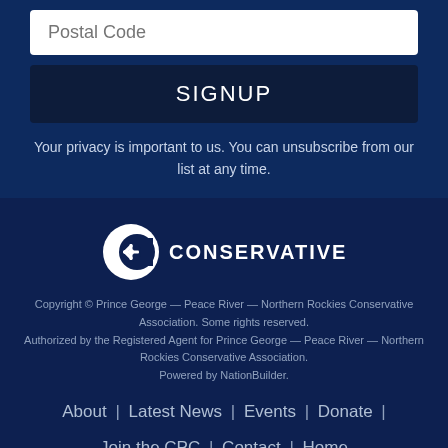Postal Code
SIGNUP
Your privacy is important to us. You can unsubscribe from our list at any time.
[Figure (logo): Conservative Party logo: white C with snowflake inside, followed by text CONSERVATIVE]
Copyright © Prince George — Peace River — Northern Rockies Conservative Association. Some rights reserved. Authorized by the Registered Agent for Prince George — Peace River — Northern Rockies Conservative Association. Powered by NationBuilder.
About | Latest News | Events | Donate | Join the CPC | Contact | Home